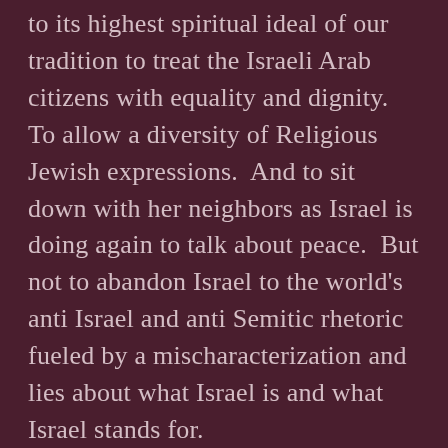to its highest spiritual ideal of our tradition to treat the Israeli Arab citizens with equality and dignity. To allow a diversity of Religious Jewish expressions.  And to sit down with her neighbors as Israel is doing again to talk about peace.  But not to abandon Israel to the world's anti Israel and anti Semitic rhetoric fueled by a mischaracterization and lies about what Israel is and what Israel stands for.

This New Year Israel needs you. Needs you to get Engaged.  I invite you to join me in a series of Conversations about Israel.  From the left and the right that will open our hearts to this sacred holy place, that is our birthright. So that we can bring about